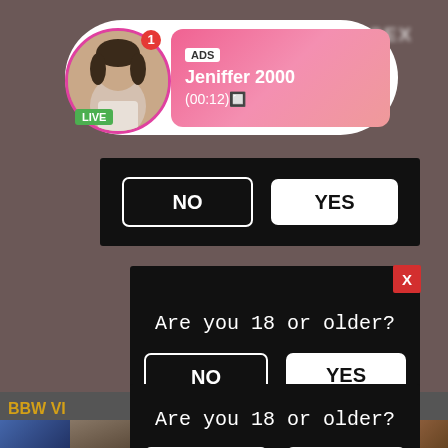[Figure (screenshot): Social media live notification pill with avatar photo, ADS label, username Jeniffer 2000, time (00:12), LIVE badge, and blurred title text]
NO
YES
Are you 18 or older?
NO
YES
Are you 18 or older?
NO
YES
BBW VI
UNCUT